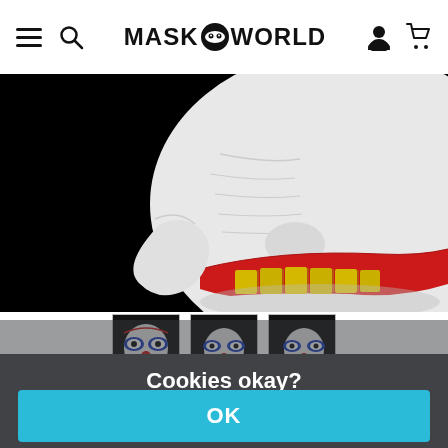MASK WORLD — navigation header with hamburger menu, search, logo, user icon, and cart icon
[Figure (photo): Close-up of a horror clown mask on black background: white pale face, large red lips baring yellow teeth, partial view]
[Figure (photo): Three thumbnail images of a clown mask (full face, blue and white face paint, red nose) from different angles]
Cookies okay?
Together with our partners, we require your consent (click on "OK") for individual data uses in order to store and retrieve information (e.g. browser information, user ID, IP address) and to process it or have it processed. The data usage is for personalised functionalities, content and ads
OK